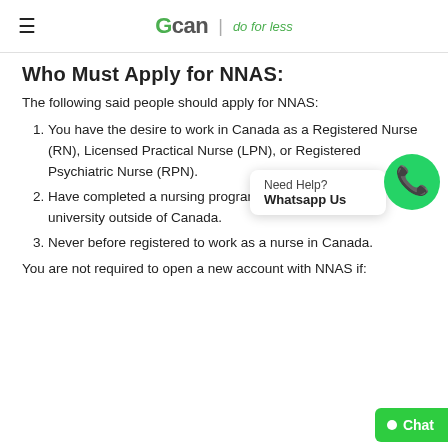GCAN | do for less
Who Must Apply for NNAS?
The following said people should apply for NNAS:
You have the desire to work in Canada as a Registered Nurse (RN), Licensed Practical Nurse (LPN), or Registered Psychiatric Nurse (RPN).
Have completed a nursing programme in a college or university outside of Canada.
Never before registered to work as a nurse in Canada.
You are not required to open a new account with NNAS if: